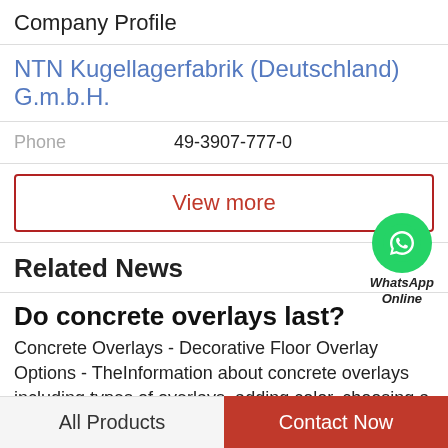Company Profile
NTN Kugellagerfabrik (Deutschland) G.m.b.H.
Phone   49-3907-777-0
View more
Related News
[Figure (logo): WhatsApp Online green circle icon with phone handset, labeled WhatsApp Online]
Do concrete overlays last?
Concrete Overlays - Decorative Floor Overlay Options - TheInformation about concrete overlays including types of overlays, adding color, choosing a floor Does
All Products
Contact Now